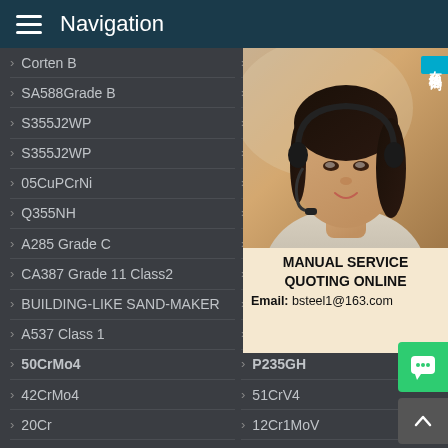Navigation
Corten B
SA588Grade B
S355J2WP
S355J2WP
05CuPCrNi
Q355NH
A285 Grade C
CA387 Grade 11 Class2
BUILDING-LIKE SAND-MAKER
A537 Class 1
50CrMo4
42CrMo4
20Cr
A588
S355J
S355J
09CuP
Q355G
A204
A387
A387
A387
A516 Grade 70
P235GH
51CrV4
12Cr1MoV
40Cr
[Figure (photo): Customer service representative wearing headset, with Chinese text badge '在线咨询' (Online Consultation), and advertisement text: MANUAL SERVICE, QUOTING ONLINE, Email: bsteel1@163.com]